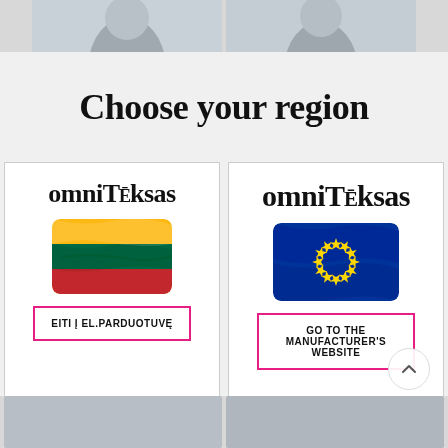[Figure (photo): Two partial photos of women at the top strip]
Choose your region
[Figure (logo): omniTeksas logo with Lithuanian flag and button 'EITI Į EL.PARDUOTUVĘ']
[Figure (logo): omniTeksas logo with EU flag and button 'GO TO THE MANUFACTURER'S WEBSITE']
[Figure (photo): Partial photos of women at the bottom strip]